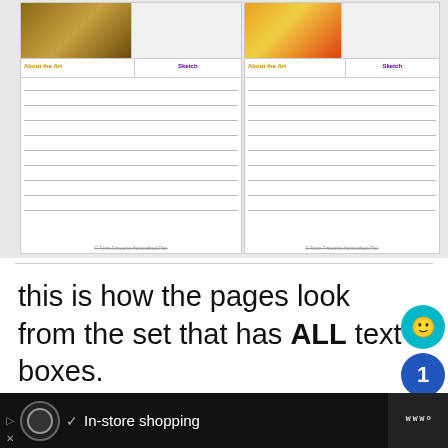[Figure (screenshot): Two worksheet preview cards showing art journal pages with 'About the Art' and 'Sketch' columns, lined writing areas, and artwork images at top]
this is how the pages look from the set that has ALL text boxes.
[Figure (screenshot): Two worksheet preview cards showing artist pages with 'Artist' and 'Facts about the Artist' sections, lined writing areas, and artwork photos]
[Figure (screenshot): Advertisement banner: Free Strawberry overlay ad, and bottom In-store shopping ad banner]